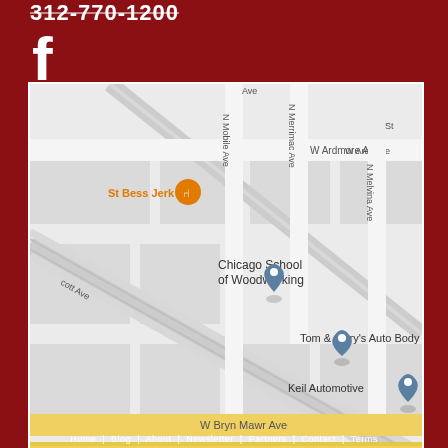312-770-1200
[Figure (illustration): Facebook 'f' logo icon in white]
[Figure (map): Google Maps screenshot showing Chicago School of Woodworking location near W Ardmore Ave, N Mobile Ave, N Merrimac Ave, N Melvina Ave, W Bryn Mawr Ave. Nearby landmarks: St Bess Jerk, Tom & Jerry's Auto Body, Keil Automotive.]
Home | Blog | About | Newsletter | Partners | Contact | Terms